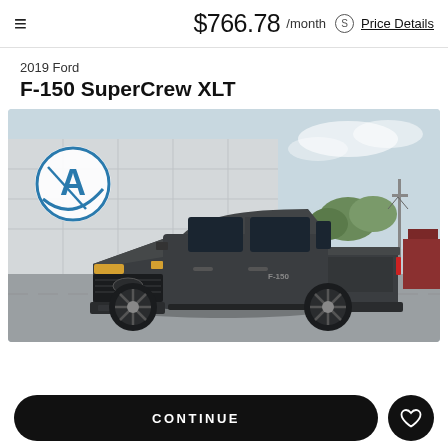$766.78 /month  Price Details
2019 Ford
F-150 SuperCrew XLT
[Figure (photo): Dark gray 2019 Ford F-150 SuperCrew XLT pickup truck parked in a dealership lot. Dealership logo (stylized 'A' in a circle with swoosh) visible on building in background. Overcast sky.]
CONTINUE